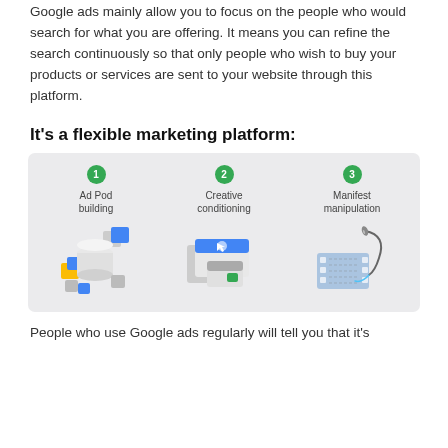Google ads mainly allow you to focus on the people who would search for what you are offering. It means you can refine the search continuously so that only people who wish to buy your products or services are sent to your website through this platform.
It's a flexible marketing platform:
[Figure (infographic): Three-step infographic on a light grey background. Step 1 (green circle): Ad Pod building — icons of stacked cylinders with colored squares. Step 2 (green circle): Creative conditioning — icons of layered graphic design panels. Step 3 (green circle): Manifest manipulation — icons of a film strip with a needle/thread.]
People who use Google ads regularly will tell you that it's